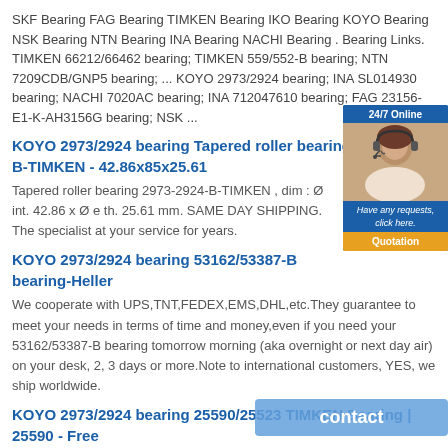SKF Bearing FAG Bearing TIMKEN Bearing IKO Bearing KOYO Bearing NSK Bearing NTN Bearing INA Bearing NACHI Bearing . Bearing Links. TIMKEN 66212/66462 bearing; TIMKEN 559/552-B bearing; NTN 7209CDB/GNP5 bearing; ... KOYO 2973/2924 bearing; INA SL014930 bearing; NACHI 7020AC bearing; INA 712047610 bearing; FAG 23156-E1-K-AH3156G bearing; NSK ...
KOYO 2973/2924 bearing Tapered roller bearing 2973-2924-B-TIMKEN - 42.86x85x25.61
Tapered roller bearing 2973-2924-B-TIMKEN , dim : Ø int. 42.86 x Ø e th. 25.61 mm. SAME DAY SHIPPING. The specialist at your service for years.
KOYO 2973/2924 bearing 53162/53387-B bearing-Heller
We cooperate with UPS,TNT,FEDEX,EMS,DHL,etc.They guarantee to meet your needs in terms of time and money,even if you need your 53162/53387-B bearing tomorrow morning (aka overnight or next day air) on your desk, 2, 3 days or more.Note to international customers, YES, we ship worldwide.
KOYO 2973/2924 bearing 25590/25523 TIMKEN Bearing | 25590 - Free
Timken Axle Bearings 25590 - Free Shipping on Orders Over .... Find Timken Axle Bearings 25590 and get Free Shipping on Orders Over $99 at Summit Racing!
[Figure (other): 24/7 Online chat widget with woman headset image and Quotation button]